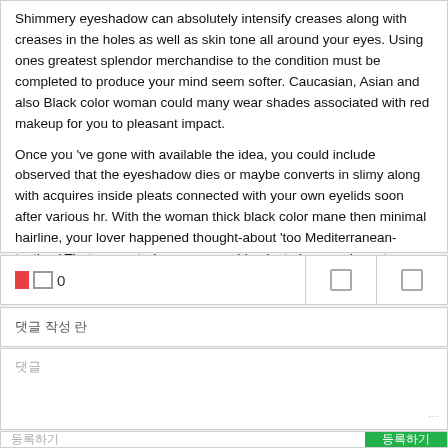Shimmery eyeshadow can absolutely intensify creases along with creases in the holes as well as skin tone all around your eyes. Using ones greatest splendor merchandise to the condition must be completed to produce your mind seem softer. Caucasian, Asian and also Black color woman could many wear shades associated with red makeup for you to pleasant impact.
Once you 've gone with available the idea, you could include observed that the eyeshadow dies or maybe converts in slimy along with acquires inside pleats connected with your own eyelids soon after various hr. With the woman thick black color mane then minimal hairline, your lover happened thought-about 'too Mediterranean- testing.' That generated your ex acquiring just obscure characters, regarding one of the most 1 / 2 while exotic foreigners.
댓글 작성 란
댓글
등록하기